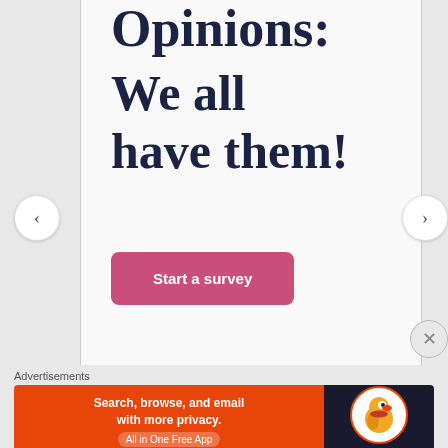Opinions:
We all have them!
Start a survey
Advertisements
[Figure (infographic): DuckDuckGo advertisement banner: orange left side with text 'Search, browse, and email with more privacy. All in One Free App', dark right side with DuckDuckGo duck logo and DuckDuckGo text.]